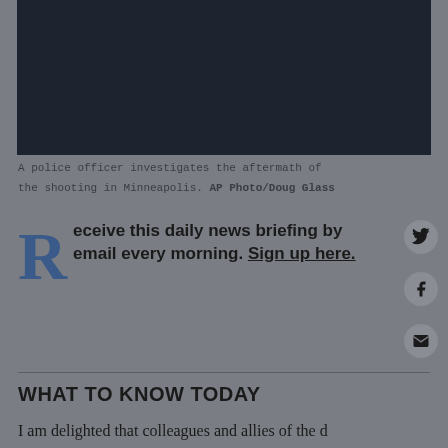[Figure (photo): A dark/navy photograph of a shooting aftermath scene in Minneapolis]
A police officer investigates the aftermath of the shooting in Minneapolis. AP Photo/Doug Glass
Receive this daily news briefing by email every morning. Sign up here.
WHAT TO KNOW TODAY
I am delighted that colleagues and allies of the d